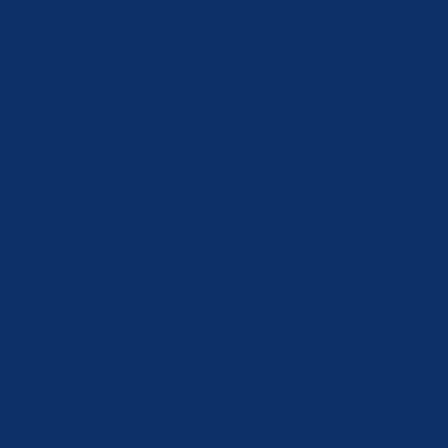ally worth reading anything they've written, IMHO.